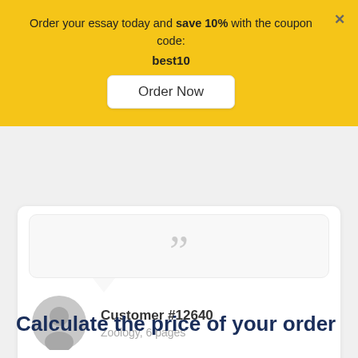Order your essay today and save 10% with the coupon code: best10
[Figure (screenshot): Order Now button on yellow banner]
[Figure (illustration): Testimonial speech bubble with large quotation mark and customer avatar for Customer #12640, Zoology, 6 pages]
Customer #12640
Zoology, 6 pages
Calculate the price of your order